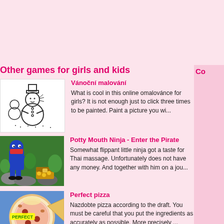Other games for girls and kids
Co
Vánoční malování — What is cool in this online omalovánce for girls? It is not enough just to click three times to be painted. Paint a picture you wi...
Potty Mouth Ninja - Enter the Pirate — Somewhat flippant little ninja got a taste for Thai massage. Unfortunately does not have any money. And together with him on a jou...
Perfect pizza — Nazdobte pizza according to the draft. You must be careful that you put the ingredients as accurately as possible. More precisely ...
Bratz Babuz 25: Mall Crawl